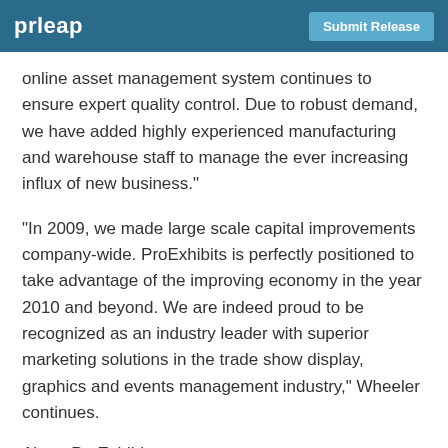prleap | Submit Release
online asset management system continues to ensure expert quality control. Due to robust demand, we have added highly experienced manufacturing and warehouse staff to manage the ever increasing influx of new business."
"In 2009, we made large scale capital improvements company-wide. ProExhibits is perfectly positioned to take advantage of the improving economy in the year 2010 and beyond. We are indeed proud to be recognized as an industry leader with superior marketing solutions in the trade show display, graphics and events management industry," Wheeler continues.
About ProExhibits